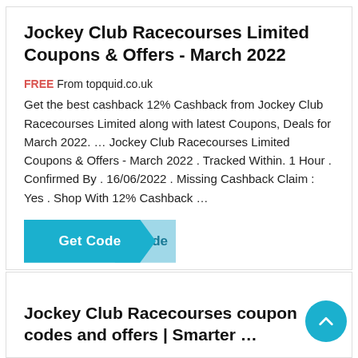Jockey Club Racecourses Limited Coupons & Offers - March 2022
FREE From topquid.co.uk
Get the best cashback 12% Cashback from Jockey Club Racecourses Limited along with latest Coupons, Deals for March 2022. ... Jockey Club Racecourses Limited Coupons & Offers - March 2022 . Tracked Within. 1 Hour . Confirmed By . 16/06/2022 . Missing Cashback Claim : Yes . Shop With 12% Cashback ...
[Figure (other): Get Code button in teal/blue color with arrow/chevron shape and 'de' text visible]
Jockey Club Racecourses coupon codes and offers | Smarter ...